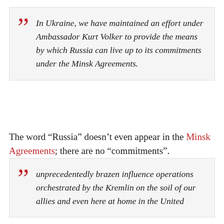In Ukraine, we have maintained an effort under Ambassador Kurt Volker to provide the means by which Russia can live up to its commitments under the Minsk Agreements.
The word “Russia” doesn’t even appear in the Minsk Agreements; there are no “commitments”.
unprecedentedly brazen influence operations orchestrated by the Kremlin on the soil of our allies and even here at home in the United